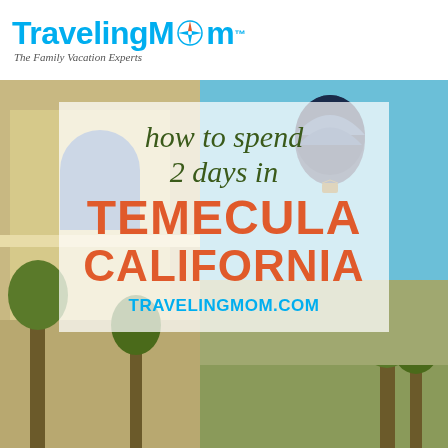TravelingMom — The Family Vacation Experts
[Figure (photo): Background photo of Temecula California showing a Mediterranean-style building on the left and a hot air balloon in a blue sky on the right, with trees and landscape visible.]
how to spend 2 days in TEMECULA CALIFORNIA
TRAVELINGMOM.COM